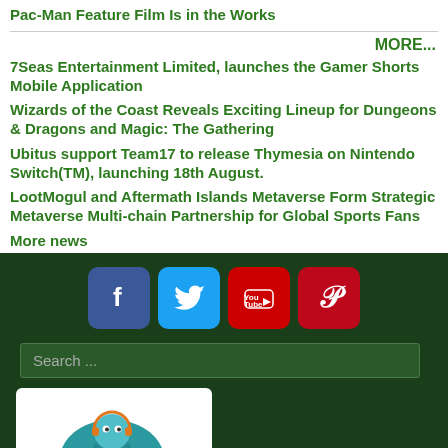Pac-Man Feature Film Is in the Works
MORE...
7Seas Entertainment Limited, launches the Gamer Shorts Mobile Application
Wizards of the Coast Reveals Exciting Lineup for Dungeons & Dragons and Magic: The Gathering
Ubitus support Team17 to release Thymesia on Nintendo Switch(TM), launching 18th August.
LootMogul and Aftermath Islands Metaverse Form Strategic Metaverse Multi-chain Partnership for Global Sports Fans
More news
[Figure (infographic): Social media icons for Facebook, Twitter, YouTube, and Pinterest]
Search ...
[Figure (logo): GoGameGeek logo — teal circular design with mascot character and orange text 'gogamegeek']